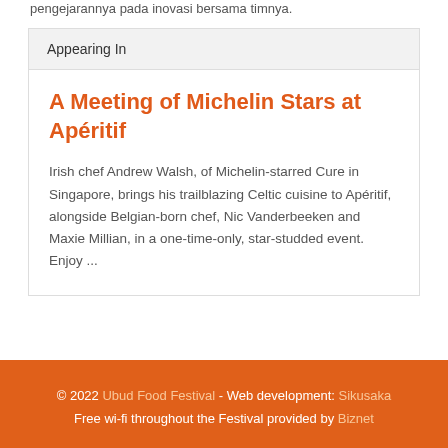pengejarannya pada inovasi bersama timnya.
Appearing In
A Meeting of Michelin Stars at Apéritif
Irish chef Andrew Walsh, of Michelin-starred Cure in Singapore, brings his trailblazing Celtic cuisine to Apéritif, alongside Belgian-born chef, Nic Vanderbeeken and Maxie Millian, in a one-time-only, star-studded event. Enjoy ...
© 2022 Ubud Food Festival - Web development: Sikusaka
Free wi-fi throughout the Festival provided by Biznet